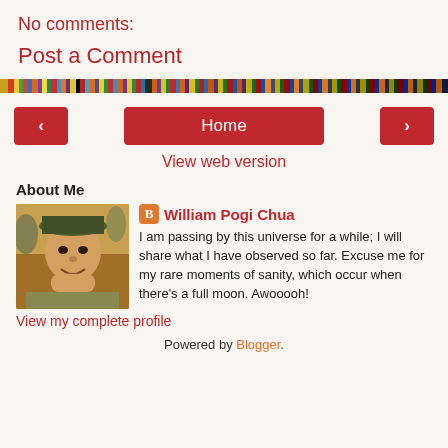No comments:
Post a Comment
[Figure (illustration): Multicolored vertical stripe decorative bar spanning full width]
< Home >
View web version
About Me
[Figure (photo): Profile photo of William Pogi Chua, a person wearing a hat, resting chin on hand]
William Pogi Chua
I am passing by this universe for a while; I will share what I have observed so far. Excuse me for my rare moments of sanity, which occur when there's a full moon. Awooooh!
View my complete profile
Powered by Blogger.